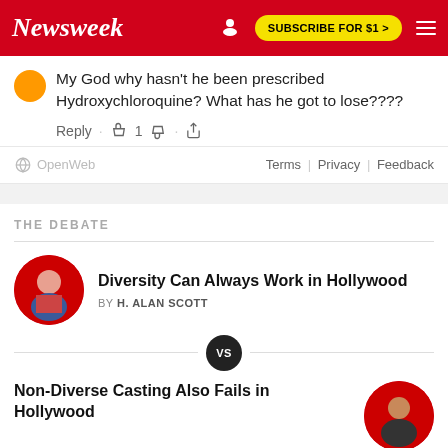Newsweek | SUBSCRIBE FOR $1 >
My God why hasn't he been prescribed Hydroxychloroquine? What has he got to lose????
Reply · 👍 1 👎 · Share
OpenWeb | Terms | Privacy | Feedback
THE DEBATE
Diversity Can Always Work in Hollywood
BY H. ALAN SCOTT
VS
Non-Diverse Casting Also Fails in Hollywood